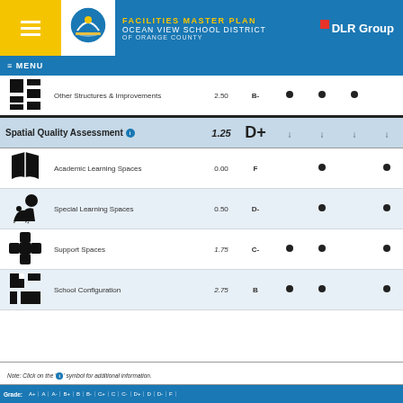FACILITIES MASTER PLAN Ocean View School District of Orange County | DLR Group
| Icon | Category | Score | Grade | Col1 | Col2 | Col3 | Col4 |
| --- | --- | --- | --- | --- | --- | --- | --- |
| [icon] | Other Structures & Improvements | 2.50 | B- | ● | ● | ● |  |
| [section] | Spatial Quality Assessment ℹ | 1.25 | D+ | ↓ | ↓ | ↓ | ↓ |
| [icon] | Academic Learning Spaces | 0.00 | F |  | ● |  | ● |
| [icon] | Special Learning Spaces | 0.50 | D- |  | ● |  | ● |
| [icon] | Support Spaces | 1.75 | C- | ● | ● |  | ● |
| [icon] | School Configuration | 2.75 | B | ● | ● |  | ● |
Note: Click on the 'ℹ' symbol for additional information.
Grade: A+ A A- B+ B B- C+ C C- D+ D D- F